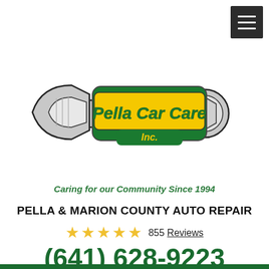[Figure (logo): Pella Car Care Inc. logo — a wrench with a yellow and green banner reading 'Pella Car Care Inc.']
Caring for our Community Since 1994
PELLA & MARION COUNTY AUTO REPAIR
★★★★★  855 Reviews
(641) 628-9223
90 Truman Rd. , Pella, IA 50219
Mon – Fri: 7:00 AM – 5:30 PM